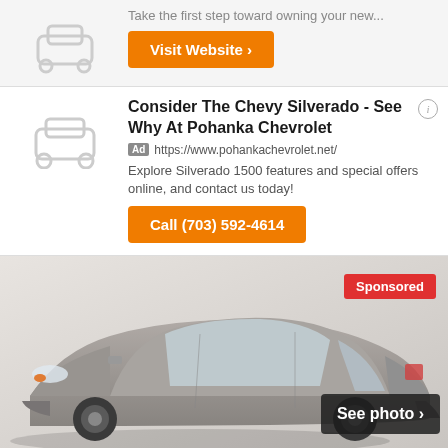Take the first step toward owning your new...
Visit Website ›
Consider The Chevy Silverado - See Why At Pohanka Chevrolet
Ad https://www.pohankachevrolet.net/
Explore Silverado 1500 features and special offers online, and contact us today!
Call (703) 592-4614
[Figure (photo): Gray Toyota Corolla sedan with Sponsored badge and See photo button]
Sponsored
See photo ›
Certified 2018 Toyota Corolla LE CHARLOTTESVILLE, VA 22911